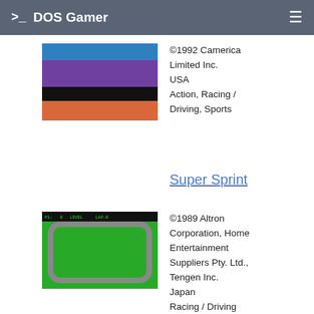>_ DOS Gamer
[Figure (screenshot): Moto game screenshot with colorful side-scrolling platformer, character on bike, ground layers in orange, black, purple, sky blue with green trees]
©1992 Camerica Limited Inc.
USA
Action, Racing / Driving, Sports
Super Sprint
[Figure (screenshot): Super Sprint top-down racing game screenshot showing a race track with green grass, gray road, yellow chevron borders and HUD at top]
©1989 Altron Corporation, Home Entertainment Suppliers Pty. Ltd., Tengen Inc.
Japan
Racing / Driving